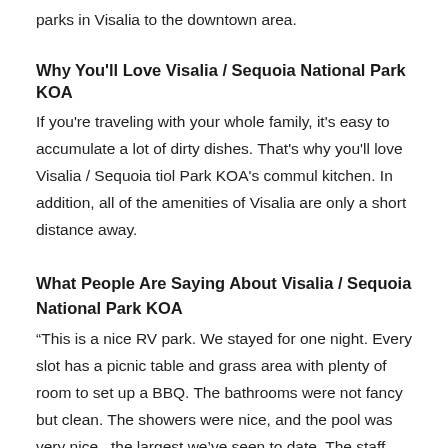parks in Visalia to the downtown area.
Why You'll Love Visalia / Sequoia National Park KOA
If you're traveling with your whole family, it's easy to accumulate a lot of dirty dishes. That's why you'll love Visalia / Sequoia tiol Park KOA's commul kitchen. In addition, all of the amenities of Visalia are only a short distance away.
What People Are Saying About Visalia / Sequoia National Park KOA
“This is a nice RV park. We stayed for one night. Every slot has a picnic table and grass area with plenty of room to set up a BBQ. The bathrooms were not fancy but clean. The showers were nice, and the pool was very nice– the largest we’ve seen to date. The staff were very friendly and helpful, and let